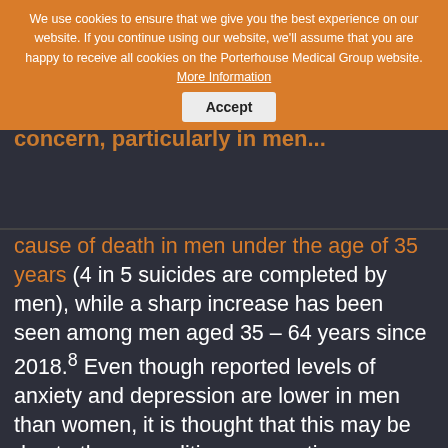We use cookies to ensure that we give you the best experience on our website. If you continue using our website, we'll assume that you are happy to receive all cookies on the Porterhouse Medical Group website. More Information  Accept
Mental health is a huge area for concern, particularly in men...
cause of death in men under the age of 35 years (4 in 5 suicides are completed by men), while a sharp increase has been seen among men aged 35 – 64 years since 2018.8 Even though reported levels of anxiety and depression are lower in men than women, it is thought that this may be due to these conditions presenting differently in men, and that symptoms may not be recognised and diagnosed.9 As diagnosis aids access to treatment, lack of diagnosis for mental...